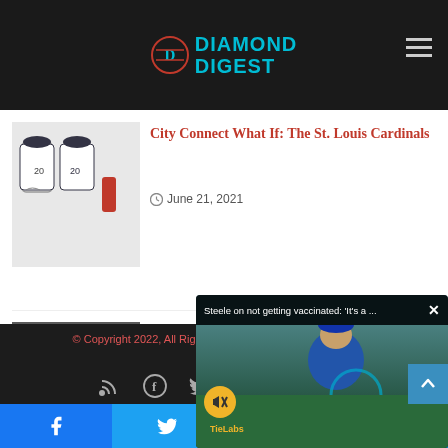DIAMOND DIGEST
[Figure (photo): Baseball uniforms/jerseys illustration for City Connect St. Louis Cardinals article]
City Connect What If: The St. Louis Cardinals
June 21, 2021
[Figure (photo): Barry Bonds holding a jersey with number 25]
Barry Bonds was a Hall of Famer Before the Steroids
November 29, 2021
[Figure (screenshot): Video overlay: Steele on not getting vaccinated: 'It's a ...' with baseball player photo]
© Copyright 2022, All Rights Reserved | ❤ Jannah Theme by TieLabs
Social icons: RSS, Facebook, Twitter, YouTube, Instagram, Spotify
Share bar: Facebook, Twitter, WhatsApp, Telegram